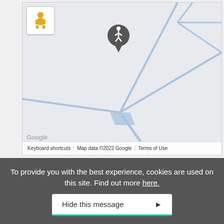[Figure (map): Google Maps screenshot showing roads/paths in light blue on a light grey background, with a pegman Street View icon in top-left corner and a walking pin marker in the center area. Bottom bar shows Google logo, Keyboard shortcuts, Map data ©2022 Google, Terms of Use.]
To provide you with the best experience, cookies are used on this site. Find out more here.
Hide this message ▶